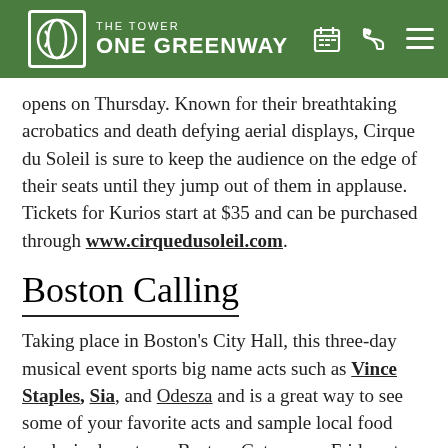THE TOWER ONE GREENWAY
opens on Thursday. Known for their breathtaking acrobatics and death defying aerial displays, Cirque du Soleil is sure to keep the audience on the edge of their seats until they jump out of them in applause. Tickets for Kurios start at $35 and can be purchased through www.cirquedusoleil.com.
Boston Calling
Taking place in Boston's City Hall, this three-day musical event sports big name acts such as Vince Staples, Sia, and Odesza and is a great way to see some of your favorite acts and sample local food trucks in downtown Boston. Gates open Friday at 6pm and Saturday and Sunday at 12pm. Single day passes and three-day tickets...